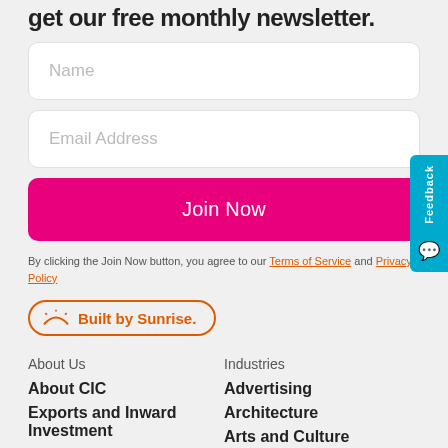get our free monthly newsletter.
Name
Email Address
Join Now
By clicking the Join Now button, you agree to our Terms of Service and Privacy Policy
Built by Sunrise.
About Us
About CIC
Exports and Inward Investment
Industries
Advertising
Architecture
Arts and Culture
Crafts
English >